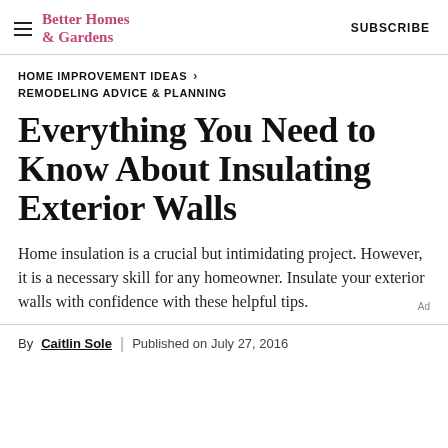Better Homes & Gardens | SUBSCRIBE
HOME IMPROVEMENT IDEAS > REMODELING ADVICE & PLANNING
Everything You Need to Know About Insulating Exterior Walls
Home insulation is a crucial but intimidating project. However, it is a necessary skill for any homeowner. Insulate your exterior walls with confidence with these helpful tips.
By Caitlin Sole | Published on July 27, 2016